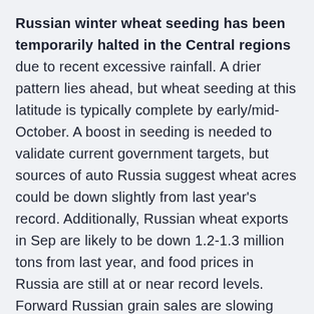Russian winter wheat seeding has been temporarily halted in the Central regions due to recent excessive rainfall. A drier pattern lies ahead, but wheat seeding at this latitude is typically complete by early/mid-October. A boost in seeding is needed to validate current government targets, but sources of auto Russia suggest wheat acres could be down slightly from last year's record. Additionally, Russian wheat exports in Sep are likely to be down 1.2-1.3 million tons from last year, and food prices in Russia are still at or near record levels. Forward Russian grain sales are slowing amid rapidly rising export taxes, which looks to reach $60 per ton (vs. $30-32 in Aug) by early October.